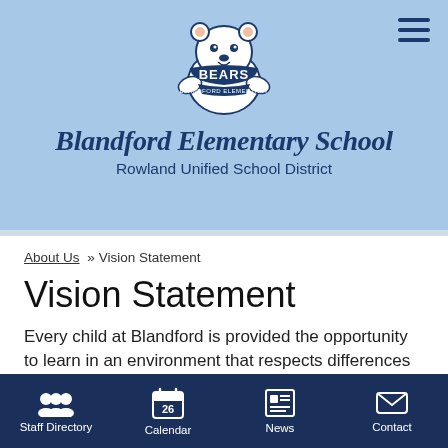[Figure (logo): Blandford Elementary School Bears mascot logo — cartoon bear with 'BEARS' text on a ribbon and 'BLANDFORD ELEMENTARY' below]
Blandford Elementary School
Rowland Unified School District
About Us » Vision Statement
Vision Statement
Every child at Blandford is provided the opportunity to learn in an environment that respects differences and
Staff Directory   Calendar   News   Contact